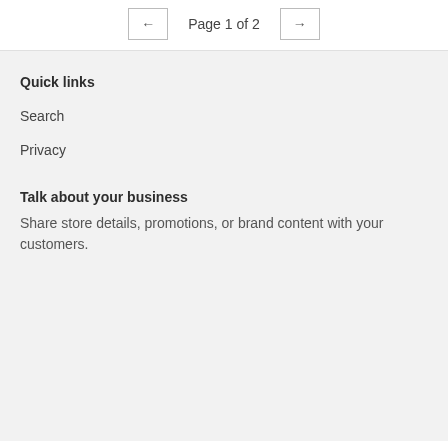Page 1 of 2
Quick links
Search
Privacy
Talk about your business
Share store details, promotions, or brand content with your customers.